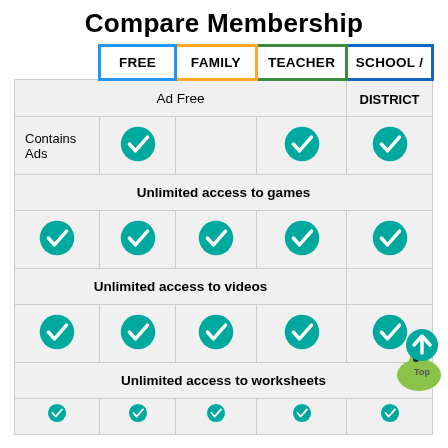Compare Membership
|  | FREE | FAMILY | TEACHER | SCHOOL / DISTRICT |
| --- | --- | --- | --- | --- |
| Ad Free |  |  | ✓ | ✓ |
| Contains Ads | ✓ | ✓ | ✓ | ✓ |
| Unlimited access to games |  |  |  |  |
| ✓ | ✓ | ✓ | ✓ |  |
| Unlimited access to videos |  |  |  |  |
| ✓ | ✓ | ✓ | ✓ |  |
| Unlimited access to worksheets |  |  |  |  |
| ✓ | ✓ | ✓ | ✓ |  |